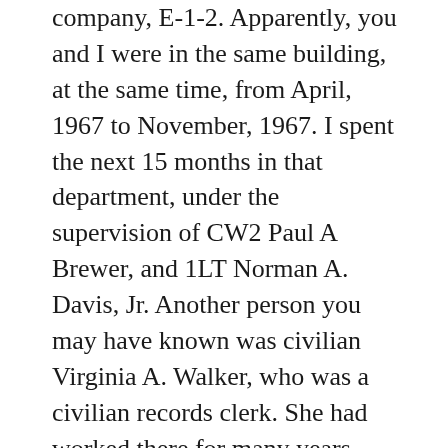company, E-1-2. Apparently, you and I were in the same building, at the same time, from April, 1967 to November, 1967. I spent the next 15 months in that department, under the supervision of CW2 Paul A Brewer, and 1LT Norman A. Davis, Jr. Another person you may have known was civilian Virginia A. Walker, who was a civilian records clerk. She had worked there for many years before I was assigned there. I made SP5 in 15 months 03/68, and got out in 10/68. Guys who worked in the Levy Section, where rosters for Vietnam came down from Washington, lived in Co. A, Sp.